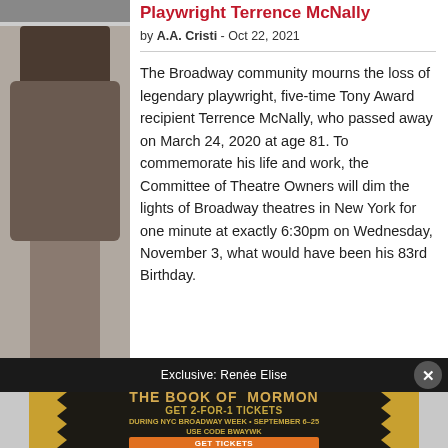[Figure (photo): Portrait photo of playwright Terrence McNally (partially visible, cropped at top)]
Playwright Terrence McNally
by A.A. Cristi - Oct 22, 2021
The Broadway community mourns the loss of legendary playwright, five-time Tony Award recipient Terrence McNally, who passed away on March 24, 2020 at age 81. To commemorate his life and work, the Committee of Theatre Owners will dim the lights of Broadway theatres in New York for one minute at exactly 6:30pm on Wednesday, November 3, what would have been his 83rd Birthday.
Exclusive: Renée Elise
[Figure (infographic): Advertisement for The Book of Mormon musical. Text: THE BOOK OF MORMON - GET 2-FOR-1 TICKETS DURING NYC BROADWAY WEEK · SEPTEMBER 6-25 - USE CODE BWAYWK - GET TICKETS]